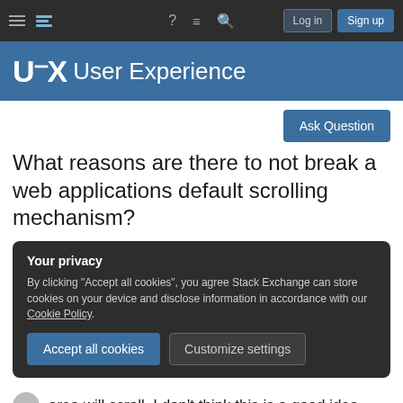Navigation bar with hamburger menu, Stack Exchange icon, help, inbox, search, Log in, Sign up buttons
[Figure (logo): UX User Experience Stack Exchange site logo on blue background]
Ask Question
What reasons are there to not break a web applications default scrolling mechanism?
Your privacy
By clicking "Accept all cookies", you agree Stack Exchange can store cookies on your device and disclose information in accordance with our Cookie Policy.
Accept all cookies
Customize settings
area will scroll. I don't think this is a good idea